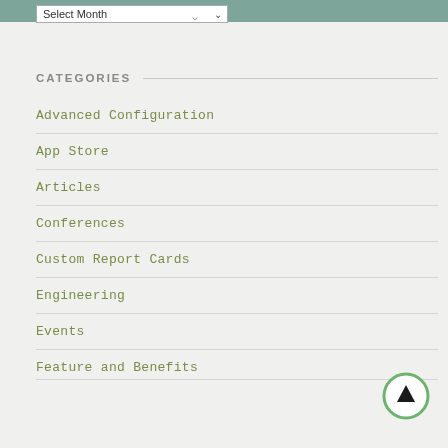Select Month
CATEGORIES
Advanced Configuration
App Store
Articles
Conferences
Custom Report Cards
Engineering
Events
[Figure (other): Scroll-to-top button: a circle with green border and an upward arrow icon]